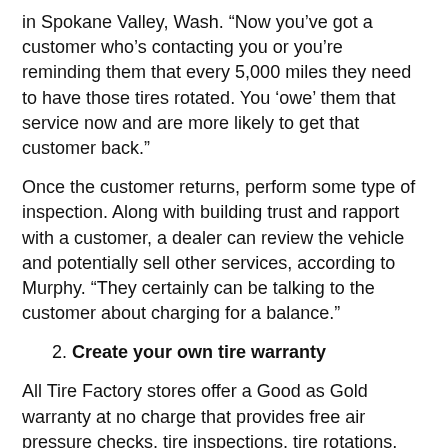in Spokane Valley, Wash. “Now you’ve got a customer who’s contacting you or you’re reminding them that every 5,000 miles they need to have those tires rotated. You ‘owe’ them that service now and are more likely to get that customer back.”
Once the customer returns, perform some type of inspection. Along with building trust and rapport with a customer, a dealer can review the vehicle and potentially sell other services, according to Murphy. “They certainly can be talking to the customer about charging for a balance.”
2. Create your own tire warranty
All Tire Factory stores offer a Good as Gold warranty at no charge that provides free air pressure checks, tire inspections, tire rotations, free flat repair and free tire replacement for tires damaged and not repairable due to a road hazard with every purchase. But Alignment Pros Inc. which does business as Alignment Pros Tire Factory in